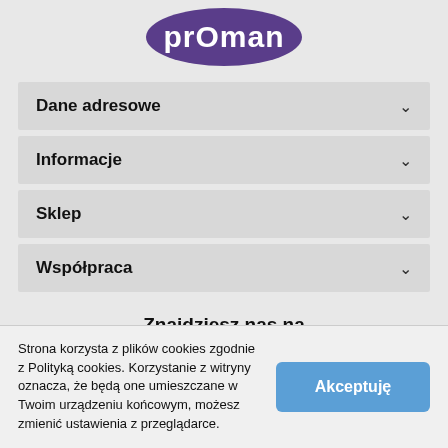[Figure (logo): Proman logo — white text 'prOman' on a purple oval/ellipse background]
Dane adresowe
Informacje
Sklep
Współpraca
Znajdziesz nas na
[Figure (illustration): Facebook and Instagram social media icons — circular outlines in blue, with f and camera icons inside]
Strona korzysta z plików cookies zgodnie z Polityką cookies. Korzystanie z witryny oznacza, że będą one umieszczane w Twoim urządzeniu końcowym, możesz zmienić ustawienia z przeglądarce.
Akceptuję